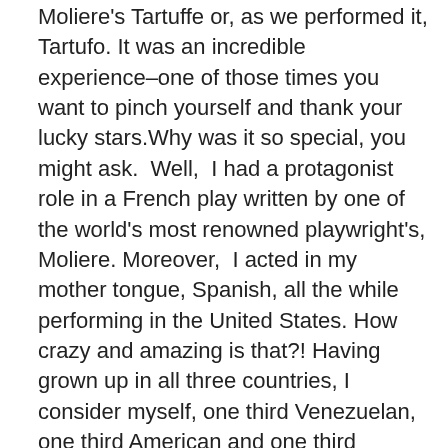Moliere's Tartuffe or, as we performed it, Tartufo. It was an incredible experience–one of those times you want to pinch yourself and thank your lucky stars.Why was it so special, you might ask.  Well,  I had a protagonist role in a French play written by one of the world's most renowned playwright's, Moliere. Moreover,  I acted in my mother tongue, Spanish, all the while performing in the United States. How crazy and amazing is that?! Having grown up in all three countries, I consider myself, one third Venezuelan, one third American and one third French. So how could I not but rejoice in the process and soak it all in? A special thank you to our directors: Adela Romero and Julio Bouley. Adela, this production would not have been possible without your perseverance, faith, determination and leadership. Julio, it was a real pleasure to get to work with such a gifted actor. You made our Tartufo mischievous, brilliantly hilarious and